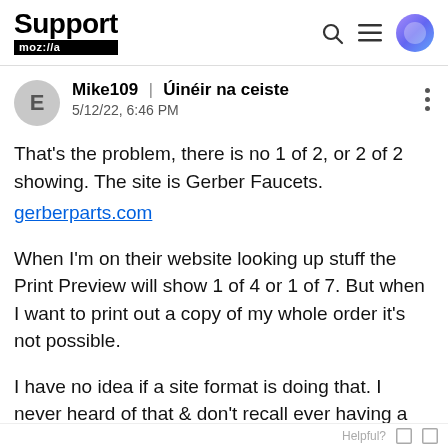Support mozilla
Mike109 | Úinéir na ceiste
5/12/22, 6:46 PM
That's the problem, there is no 1 of 2, or 2 of 2 showing. The site is Gerber Faucets.
gerberparts.com

When I'm on their website looking up stuff the Print Preview will show 1 of 4 or 1 of 7. But when I want to print out a copy of my whole order it's not possible.

I have no idea if a site format is doing that. I never heard of that & don't recall ever having a problem like this.